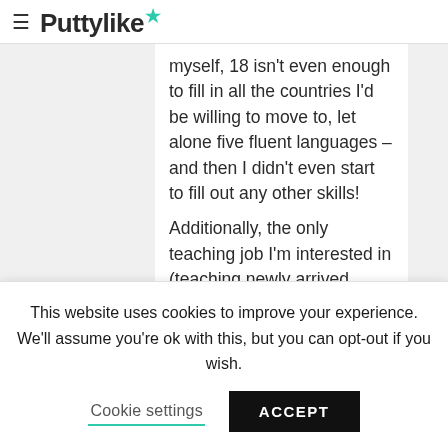Puttylike
myself, 18 isn't even enough to fill in all the countries I'd be willing to move to, let alone five fluent languages – and then I didn't even start to fill out any other skills! Additionally, the only teaching job I'm interested in (teaching newly arrived refugee kids) wasn't even listed as a possibility. Conclusion: the Swedish unemployment office is not
This website uses cookies to improve your experience. We'll assume you're ok with this, but you can opt-out if you wish.
Cookie settings   ACCEPT